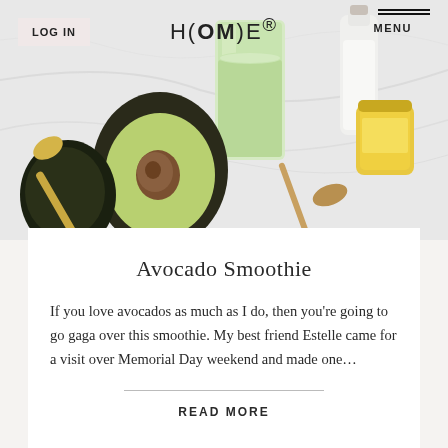[Figure (photo): Food photography showing avocado smoothie in a glass, a halved avocado, honey jar, milk bottles, and a honey dipper on a white marble surface]
LOG IN    H(OM)E®    MENU
Avocado Smoothie
If you love avocados as much as I do, then you're going to go gaga over this smoothie. My best friend Estelle came for a visit over Memorial Day weekend and made one…
READ MORE